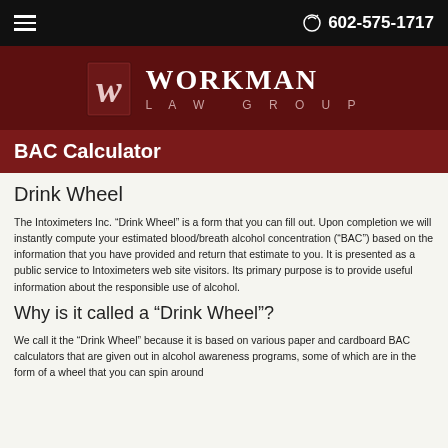602-575-1717
[Figure (logo): Workman Law Group logo with stylized W icon on dark red background]
BAC Calculator
Drink Wheel
The Intoximeters Inc. “Drink Wheel” is a form that you can fill out. Upon completion we will instantly compute your estimated blood/breath alcohol concentration (“BAC”) based on the information that you have provided and return that estimate to you. It is presented as a public service to Intoximeters web site visitors. Its primary purpose is to provide useful information about the responsible use of alcohol.
Why is it called a “Drink Wheel”?
We call it the “Drink Wheel” because it is based on various paper and cardboard BAC calculators that are given out in alcohol awareness programs, some of which are in the form of a wheel that you can spin around